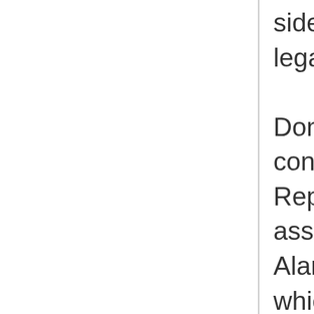side and shout out legal advice. Don Mulford, a conservative Republican state assemblyman from Alameda County, which includes Oakland, was determined to end the Panthers' police patrols. To disarm the